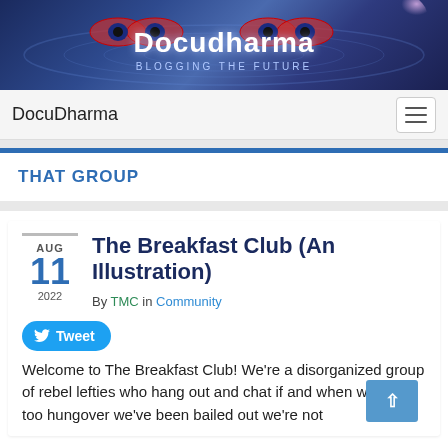[Figure (illustration): DocuDharma website banner with blue ripple water background, stylized eye logos, site name 'Docudharma' and tagline 'BLOGGING THE FUTURE']
DocuDharma
THAT GROUP
The Breakfast Club (An Illustration)
By TMC in Community
Tweet
Welcome to The Breakfast Club! We're a disorganized group of rebel lefties who hang out and chat if and when we're not too hungover we've been bailed out we're not